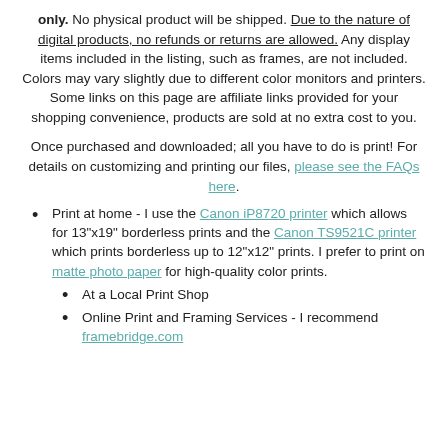only. No physical product will be shipped. Due to the nature of digital products, no refunds or returns are allowed. Any display items included in the listing, such as frames, are not included. Colors may vary slightly due to different color monitors and printers. Some links on this page are affiliate links provided for your shopping convenience, products are sold at no extra cost to you.
Once purchased and downloaded; all you have to do is print! For details on customizing and printing our files, please see the FAQs here.
Print at home - I use the Canon iP8720 printer which allows for 13"x19" borderless prints and the Canon TS9521C printer which prints borderless up to 12"x12" prints. I prefer to print on matte photo paper for high-quality color prints.
At a Local Print Shop
Online Print and Framing Services - I recommend framebridge.com